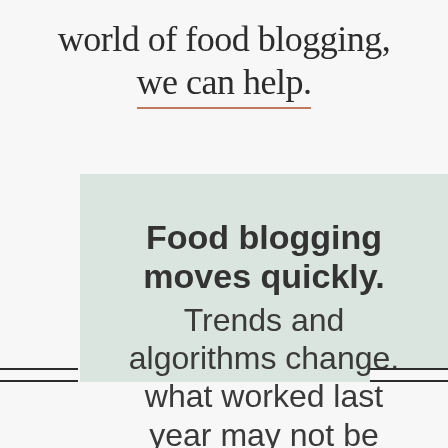world of food blogging, we can help.
Food blogging moves quickly. Trends and algorithms change, what worked last year may not be